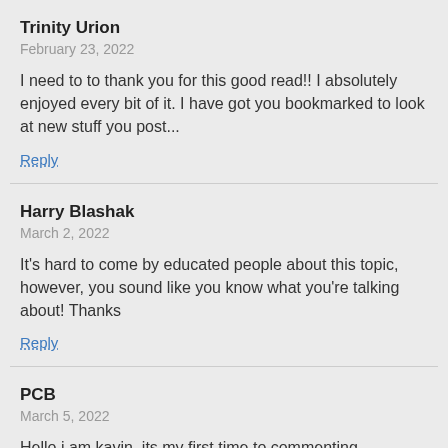Trinity Urion
February 23, 2022
I need to to thank you for this good read!! I absolutely enjoyed every bit of it. I have got you bookmarked to look at new stuff you post...
Reply
Harry Blashak
March 2, 2022
It's hard to come by educated people about this topic, however, you sound like you know what you're talking about! Thanks
Reply
PCB
March 5, 2022
Hello i am kavin, its my first time to commenting anyplace, when i read this paragraph i thought i could also make comment due to this good